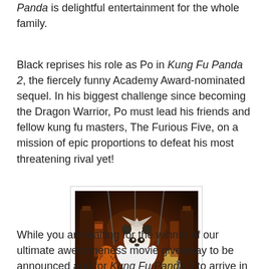Panda is delightful entertainment for the whole family.
Black reprises his role as Po in Kung Fu Panda 2, the fiercely funny Academy Award-nominated sequel. In his biggest challenge since becoming the Dragon Warrior, Po must lead his friends and fellow kung fu masters, The Furious Five, on a mission of epic proportions to defeat his most threatening rival yet!
[Figure (photo): Scene from Kung Fu Panda 2 showing Po the panda and the Furious Five characters in a dramatic indoor setting with hanging chains and warm orange lighting.]
While you are waiting for the winner of our ultimate awesomeness movie giveaway to be announced and for Kung Fu Panda 3 to arrive in theaters pass the time having